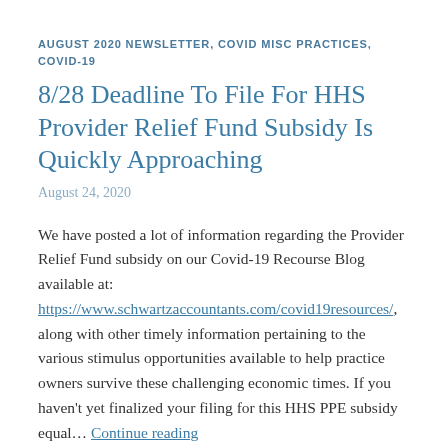AUGUST 2020 NEWSLETTER, COVID MISC PRACTICES, COVID-19
8/28 Deadline To File For HHS Provider Relief Fund Subsidy Is Quickly Approaching
August 24, 2020
We have posted a lot of information regarding the Provider Relief Fund subsidy on our Covid-19 Recourse Blog available at: https://www.schwartzaccountants.com/covid19resources/, along with other timely information pertaining to the various stimulus opportunities available to help practice owners survive these challenging economic times. If you haven't yet finalized your filing for this HHS PPE subsidy equal… Continue reading